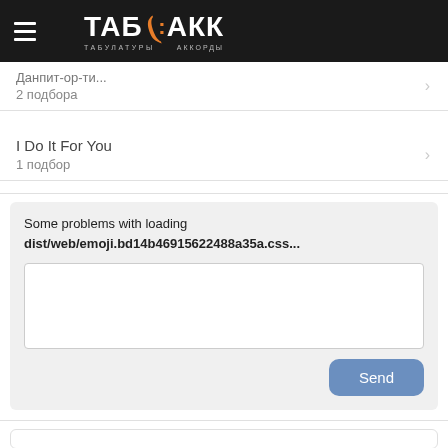ТАБ АКК — ТАБУЛАТУРЫ АККОРДЫ
2 подбора
I Do It For You
1 подбор
Some problems with loading dist/web/emoji.bd14b46915622488a35a.css...
Send